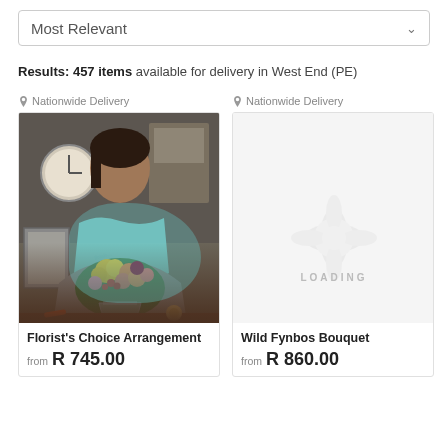Most Relevant
Results: 457 items available for delivery in West End (PE)
Nationwide Delivery
[Figure (photo): Florist holding a large colorful flower arrangement in a glass vase, smiling, wearing a teal scarf]
Florist's Choice Arrangement
from R 745.00
Nationwide Delivery
[Figure (photo): Loading placeholder image for Wild Fynbos Bouquet product]
Wild Fynbos Bouquet
from R 860.00